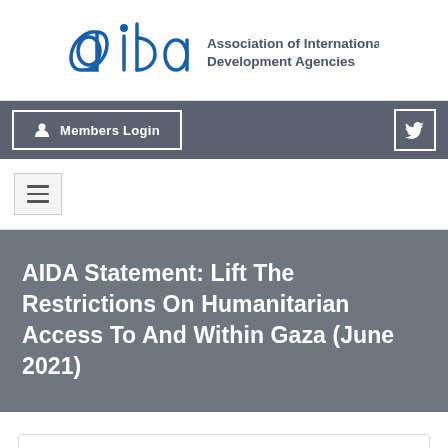[Figure (logo): AIDA – Association of International Development Agencies logo with stylized blue text and icon]
Members Login
[Figure (other): Hamburger menu icon (three horizontal lines)]
AIDA Statement: Lift The Restrictions On Humanitarian Access To And Within Gaza (June 2021)
DOWNLOAD